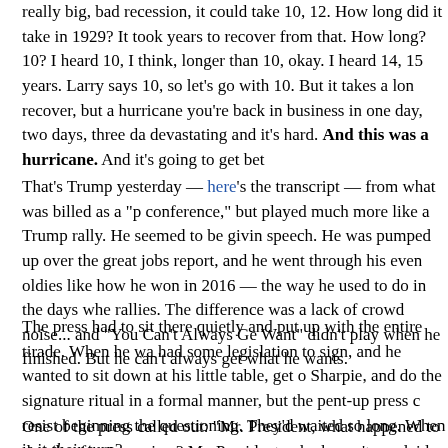really big, bad recession, it could take 10, 12. How long did it take in 1929? It took years to recover from that. How long? 10? I heard 10, I think, longer than 10, okay. I heard 14, 15 years. Larry says 10, so let's go with 10. But it takes a long time to recover, but a hurricane you're back in business in one day, two days, three days. It's devastating and it's hard. And this was a hurricane. And it's going to get bet
That's Trump yesterday — here's the transcript — from what was billed as a "press conference," but played much more like a Trump rally. He seemed to be giving a stump speech. He was pumped up over the great jobs report, and he went through his hits — even oldies like how he won in 2016 — the way he used to do in the days when he did rallies. The difference was a lack of crowd noise... and "You Can't Always Get What You Want" didn't play when he finished. But he can't always get what he wants.
The press had to sit there quietly and put up with the entire tirade. When he was done, he had some legislation to sign, and he wanted to sit down at his little table, get out his Sharpie, and do the signature ritual in a formal manner, but the pent-up press couldn't resist beginning the questioning. They'd waited so long. When is it their turn?
One of the press called out:  "Mr. President, what happened to the plan for systemic racism? Mr. President, why haven't you laid out a plan to address systemic rac